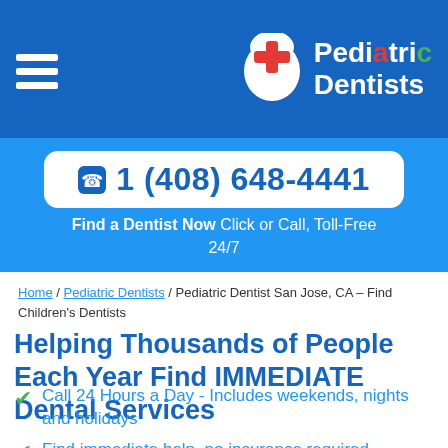Pediatric Dentists
1 (408) 648-4441
Find a Dentist Now Click or Call, Toll-Free 24/7
Home / Pediatric Dentists / Pediatric Dentist San Jose, CA – Find Children's Dentists
Helping Thousands of People Each Year Find IMMEDIATE Dental Services
Call 24 Hours a Day - Includes weekends, nights and holidays
Find immediate help, no insurance required.